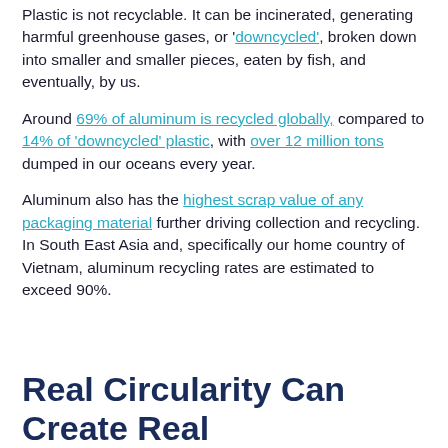Plastic is not recyclable. It can be incinerated, generating harmful greenhouse gases, or 'downcycled', broken down into smaller and smaller pieces, eaten by fish, and eventually, by us.
Around 69% of aluminum is recycled globally, compared to 14% of 'downcycled' plastic, with over 12 million tons dumped in our oceans every year.
Aluminum also has the highest scrap value of any packaging material further driving collection and recycling. In South East Asia and, specifically our home country of Vietnam, aluminum recycling rates are estimated to exceed 90%.
Real Circularity Can Create Real